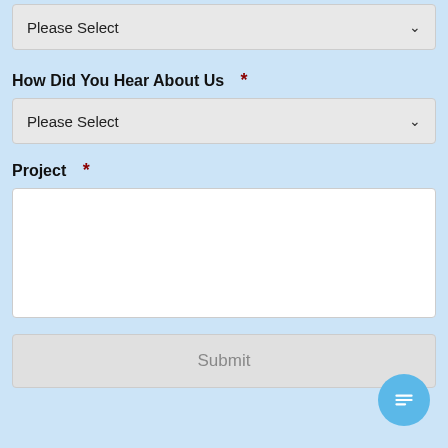[Figure (screenshot): A dropdown select box showing 'Please Select' with a chevron arrow, partially cut off at top of page]
How Did You Hear About Us  *
[Figure (screenshot): A dropdown select box showing 'Please Select' with a chevron arrow]
Project  *
[Figure (screenshot): A large empty white textarea input box for project description]
[Figure (screenshot): A Submit button in light gray]
[Figure (illustration): A blue circular chat bubble icon in the bottom right corner with a message/lines icon inside]